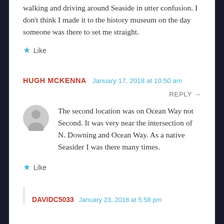walking and driving around Seaside in utter confusion. I don't think I made it to the history museum on the day someone was there to set me straight.
Like
HUGH MCKENNA  January 17, 2018 at 10:50 am  REPLY →
The second location was on Ocean Way not Second. It was very near the intersection of N. Downing and Ocean Way. As a native Seasider I was there many times.
Like
DAVIDC5033  January 23, 2018 at 5:58 pm